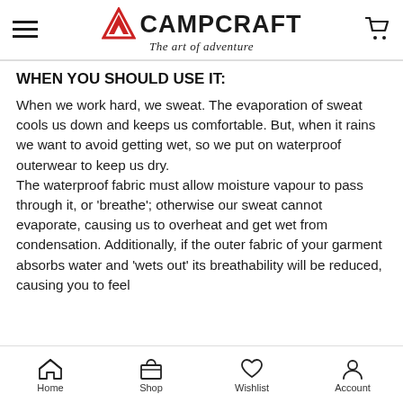CAMPCRAFT – The art of adventure
WHEN YOU SHOULD USE IT:
When we work hard, we sweat. The evaporation of sweat cools us down and keeps us comfortable. But, when it rains we want to avoid getting wet, so we put on waterproof outerwear to keep us dry. The waterproof fabric must allow moisture vapour to pass through it, or 'breathe'; otherwise our sweat cannot evaporate, causing us to overheat and get wet from condensation. Additionally, if the outer fabric of your garment absorbs water and 'wets out' its breathability will be reduced, causing you to feel
Home   Shop   Wishlist   Account